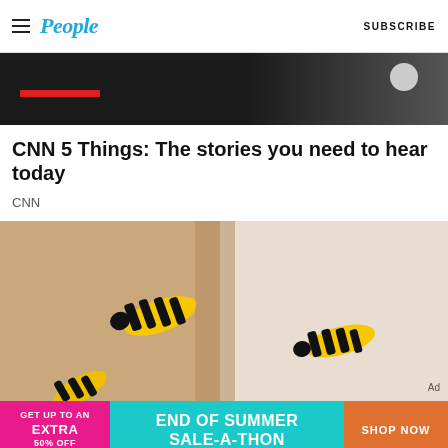People — SUBSCRIBE
[Figure (screenshot): Dark/black background image with red bar overlay and circular icon, partial view of a video or media player thumbnail]
CNN 5 Things: The stories you need to hear today
CNN
[Figure (photo): Close-up photo of yellow and black wasps (yellowjackets) near a gap or crevice in a wall or surface]
[Figure (infographic): Advertisement banner: GET UP TO AN EXTRA 50% OFF — END OF SUMMER SALE-A-THON — SHOP NOW]